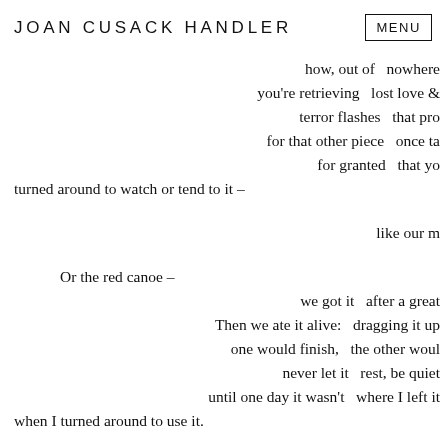JOAN CUSACK HANDLER   MENU
how, out of  nowhere
you're retrieving   lost love &
terror flashes   that pro
for that other piece   once ta
for granted   that yo
turned around to watch or tend to it –

like our m

Or the red canoe –
we got it   after a great
Then we ate it alive:   dragging it up
one would finish,   the other woul
never let it   rest, be quiet
until one day it wasn't   where I left it
when I turned around to use it.